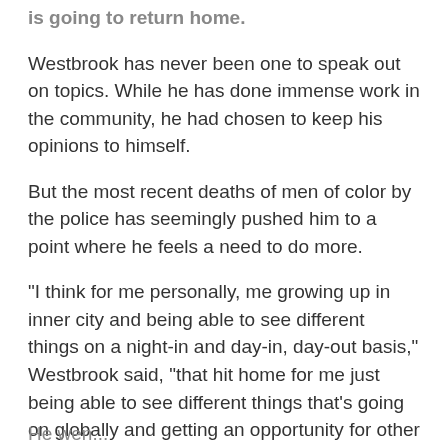is going to return home.
Westbrook has never been one to speak out on topics. While he has done immense work in the community, he had chosen to keep his opinions to himself.
But the most recent deaths of men of color by the police has seemingly pushed him to a point where he feels a need to do more.
“I think for me personally, me growing up in inner city and being able to see different things on a night-in and day-in, day-out basis,” Westbrook said, “that hit home for me just being able to see different things that’s going on globally and getting an opportunity for other people across the world to be able to see it and now I think it’s getting to a point where obviously there’s something that needs to be changed on that aspect and you know, I’m going to use my voice as much as possible being able to relay that message.”
He wen...